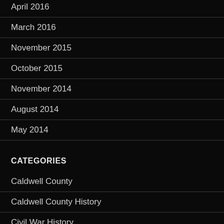April 2016
March 2016
November 2015
October 2015
November 2014
August 2014
May 2014
CATEGORIES
Caldwell County
Caldwell County History
Civil War History